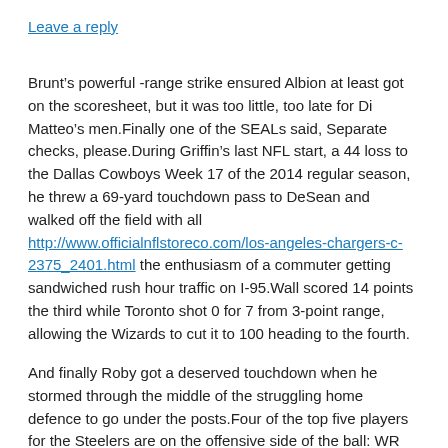Leave a reply
Brunt’s powerful -range strike ensured Albion at least got on the scoresheet, but it was too little, too late for Di Matteo’s men.Finally one of the SEALs said, Separate checks, please.During Griffin’s last NFL start, a 44 loss to the Dallas Cowboys Week 17 of the 2014 regular season, he threw a 69-yard touchdown pass to DeSean and walked off the field with all http://www.officialnflstoreco.com/los-angeles-chargers-c-2375_2401.html the enthusiasm of a commuter getting sandwiched rush hour traffic on I-95.Wall scored 14 points the third while Toronto shot 0 for 7 from 3-point range, allowing the Wizards to cut it to 100 heading to the fourth.
And finally Roby got a deserved touchdown when he stormed through the middle of the struggling home defence to go under the posts.Four of the top five players for the Steelers are on the offensive side of the ball: WR Antonio Brown...